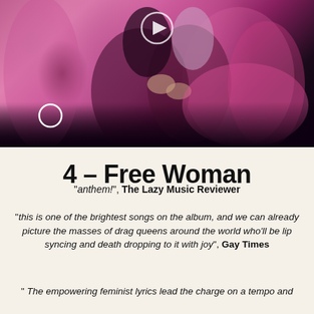[Figure (photo): Concert/performance photo with two performers in pink outfits on a pink/magenta lit stage, partially cut off at bottom with dark overlay. Video player controls visible including a play button and dot indicator.]
4 – Free Woman
"anthem!", The Lazy Music Reviewer
"this is one of the brightest songs on the album, and we can already picture the masses of drag queens around the world who'll be lip syncing and death dropping to it with joy", Gay Times
" The empowering feminist lyrics lead the charge on a tempo and